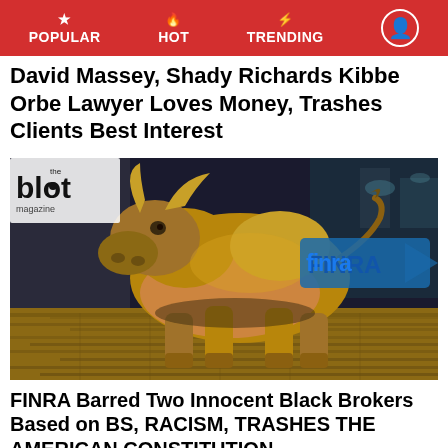POPULAR  HOT  TRENDING
David Massey, Shady Richards Kibbe Orbe Lawyer Loves Money, Trashes Clients Best Interest
[Figure (photo): Charging Bull statue on Wall Street at night with a FINRA logo overlay, photographed from a low angle showing the golden bronze bull. The Blot magazine watermark appears in the top-left corner.]
FINRA Barred Two Innocent Black Brokers Based on BS, RACISM, TRASHES THE AMERICAN CONSTITUTION